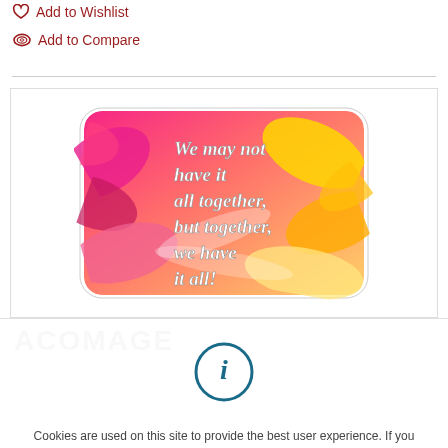Add to Wishlist
Add to Compare
[Figure (photo): Product image of a refrigerator magnet with floral background (pink and yellow flowers) and white cursive text reading: We may not have it all together, but together, we have it all!]
ACOMAGE
Cookies are used on this site to provide the best user experience. If you continue, we assume that you agree to receive cookies from this site.
I AGREE WITH IT!